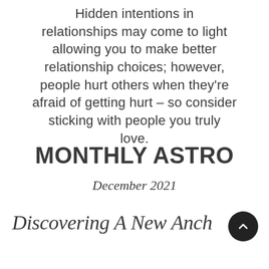Hidden intentions in relationships may come to light allowing you to make better relationship choices; however, people hurt others when they're afraid of getting hurt – so consider sticking with people you truly love.
MONTHLY ASTRO
December 2021
Discovering A New Anch…